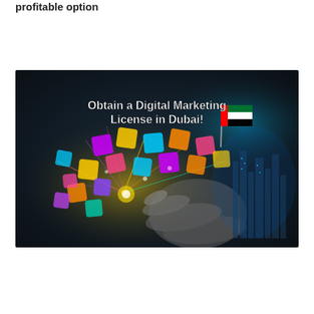profitable option
Read More »
[Figure (photo): Promotional image with dark background showing colorful floating digital marketing icons connected by light trails, a hand touching a glowing point, UAE flag, and cityscape silhouette. Text overlay reads: 'Obtain a Digital Marketing License in Dubai!']